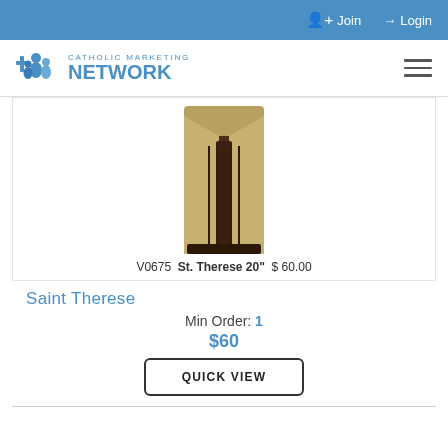Join   Login
[Figure (logo): Catholic Marketing Network logo with blue figures and blue text]
[Figure (photo): Partial photo of a Saint Therese statue showing robes, cropped at chest level]
V0675  St. Therese 20"  $ 60.00
Saint Therese
Min Order: 1
$60
QUICK VIEW